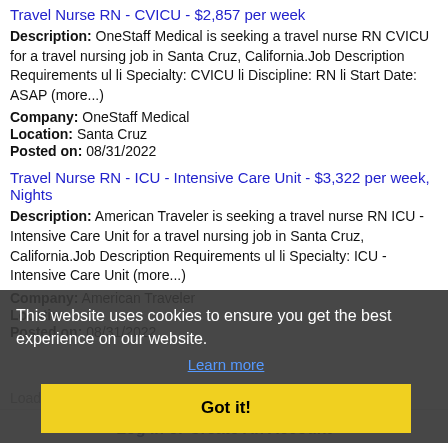Travel Nurse RN - CVICU - $2,857 per week
Description: OneStaff Medical is seeking a travel nurse RN CVICU for a travel nursing job in Santa Cruz, California. Job Description Requirements ul li Specialty: CVICU li Discipline: RN li Start Date: ASAP (more...)
Company: OneStaff Medical
Location: Santa Cruz
Posted on: 08/31/2022
Travel Nurse RN - ICU - Intensive Care Unit - $3,322 per week, Nights
Description: American Traveler is seeking a travel nurse RN ICU - Intensive Care Unit for a travel nursing job in Santa Cruz, California. Job Description Requirements ul li Specialty: ICU - Intensive Care Unit (more...)
Company: American Traveler
Location:
Posted on: 08/31/2022
Loading more jobs...
This website uses cookies to ensure you get the best experience on our website. Learn more
Got it!
Log In or Create An Account